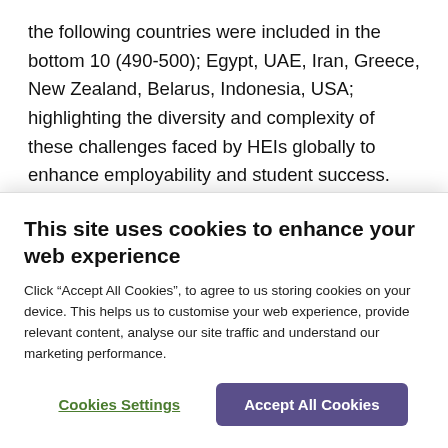the following countries were included in the bottom 10 (490-500); Egypt, UAE, Iran, Greece, New Zealand, Belarus, Indonesia, USA; highlighting the diversity and complexity of these challenges faced by HEIs globally to enhance employability and student success.
Recognising the depth, breadth and complexity of enhancing student success, the next six month member
This site uses cookies to enhance your web experience
Click “Accept All Cookies”, to agree to us storing cookies on your device. This helps us to customise your web experience, provide relevant content, analyse our site traffic and understand our marketing performance.
Cookies Settings
Accept All Cookies